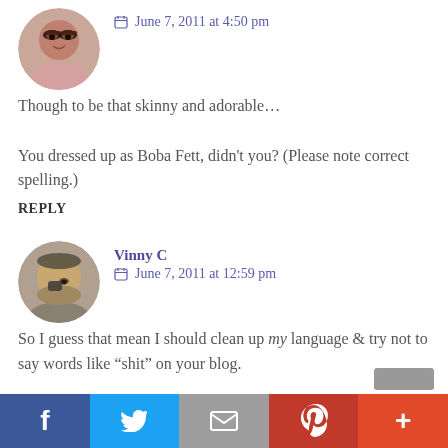[Figure (photo): Circular avatar photo of a woman with glasses]
June 7, 2011 at 4:50 pm
Though to be that skinny and adorable...

You dressed up as Boba Fett, didn't you? (Please note correct spelling.)
REPLY
[Figure (photo): Circular avatar photo of Vinny C, showing top of head/forehead]
Vinny C
June 7, 2011 at 12:59 pm
So I guess that mean I should clean up my language & try not to say words like “shit” on your blog.

Oh shit..!